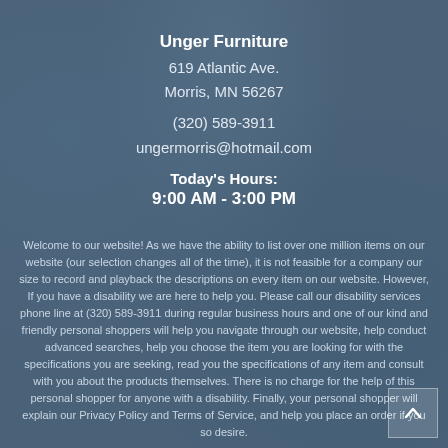Unger Furniture
619 Atlantic Ave.
Morris, MN 56267
(320) 589-3911
ungermorris@hotmail.com
Today's Hours:
9:00 AM - 3:00 PM
Welcome to our website! As we have the ability to list over one million items on our website (our selection changes all of the time), it is not feasible for a company our size to record and playback the descriptions on every item on our website. However, If you have a disability we are here to help you. Please call our disability services phone line at (320) 589-3911 during regular business hours and one of our kind and friendly personal shoppers will help you navigate through our website, help conduct advanced searches, help you choose the item you are looking for with the specifications you are seeking, read you the specifications of any item and consult with you about the products themselves. There is no charge for the help of this personal shopper for anyone with a disability. Finally, your personal shopper will explain our Privacy Policy and Terms of Service, and help you place an order if you so desire.